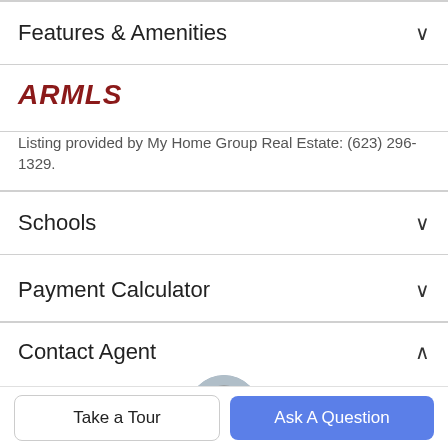Features & Amenities
[Figure (logo): ARMLS logo in bold italic dark red letters]
Listing provided by My Home Group Real Estate: (623) 296-1329.
Schools
Payment Calculator
Contact Agent
[Figure (photo): Circular avatar photo of an agent, older person with grey hair]
Take a Tour
Ask A Question